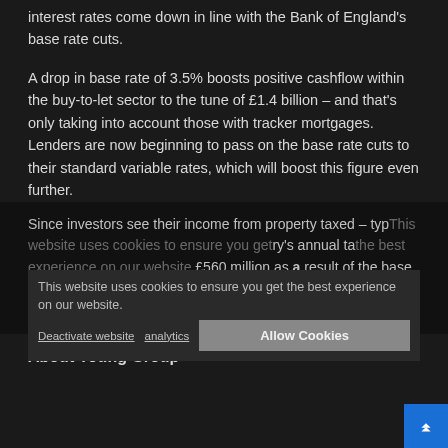interest rates come down in line with the Bank of England's base rate cuts.
A drop in base rate of 3.5% boosts positive cashflow within the buy-to-let sector to the tune of £1.4 billion – and that's only taking into account those with tracker mortgages. Lenders are now beginning to pass on the base rate cuts to their standard variable rates, which will boost this figure even further.
Since investors see their income from property taxed – typically at around 40%, they get the country's annual tax bill reduced by £560 million as a result of the base rate cuts announced so fat this year, equivalent to a reduction for each and every 0.5% drop in rates.
This website uses cookies to ensure you get the best experience on our website.
Deactivate website analytics
Allow Cookies
About Young Group